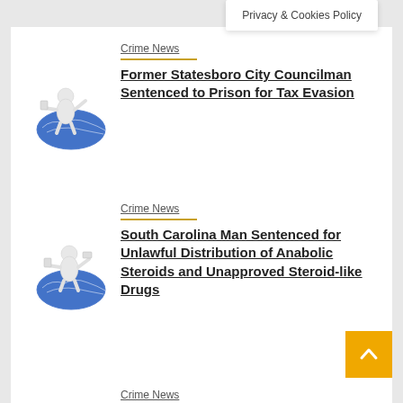Privacy & Cookies Policy
Crime News
Former Statesboro City Councilman Sentenced to Prison for Tax Evasion
Crime News
South Carolina Man Sentenced for Unlawful Distribution of Anabolic Steroids and Unapproved Steroid-like Drugs
Crime News
Acting Director Allison Randall of the Office on Violence Against